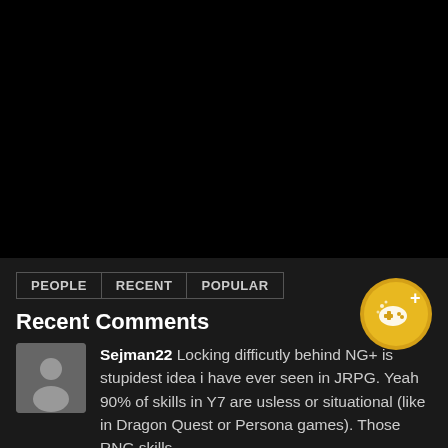[Figure (other): Black video/image area at top of page]
PEOPLE   RECENT   POPULAR
Recent Comments
[Figure (illustration): Gold circular badge with game controller and plus icon]
Sejman22 Locking difficutly behind NG+ is stupidest idea i have ever seen in JRPG. Yeah 90% of skills in Y7 are usless or situational (like in Dragon Quest or Persona games). Those RNG skills in Dragon Quest or Persona games). Those RNG skills